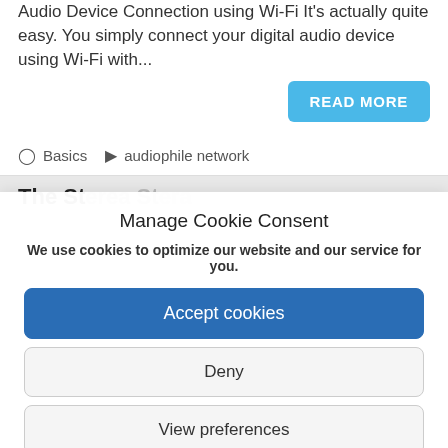Audio Device Connection using Wi-Fi  It's actually quite easy. You simply connect your digital audio device using Wi-Fi with...
READ MORE
Basics   audiophile network
The St... St...
Manage Cookie Consent
We use cookies to optimize our website and our service for you.
Accept cookies
Deny
View preferences